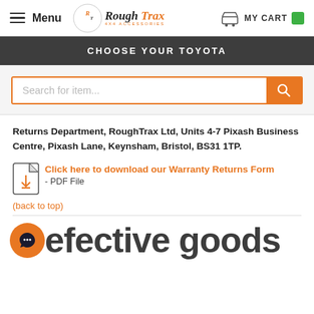Menu | Rough Trax | MY CART
CHOOSE YOUR TOYOTA
[Figure (screenshot): Search bar with orange border and orange search button, placeholder text 'Search for item...']
Returns Department, RoughTrax Ltd, Units 4-7 Pixash Business Centre, Pixash Lane, Keynsham, Bristol, BS31 1TP.
Click here to download our Warranty Returns Form - PDF File
(back to top)
efective goods